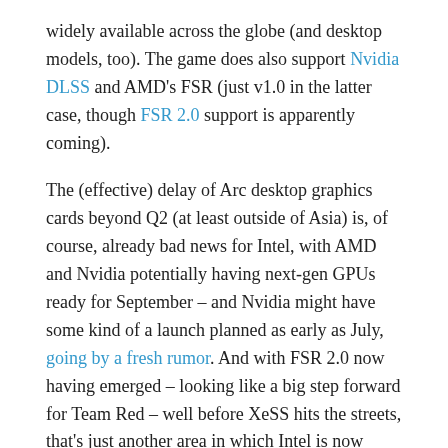widely available across the globe (and desktop models, too). The game does also support Nvidia DLSS and AMD's FSR (just v1.0 in the latter case, though FSR 2.0 support is apparently coming).
The (effective) delay of Arc desktop graphics cards beyond Q2 (at least outside of Asia) is, of course, already bad news for Intel, with AMD and Nvidia potentially having next-gen GPUs ready for September – and Nvidia might have some kind of a launch planned as early as July, going by a fresh rumor. And with FSR 2.0 now having emerged – looking like a big step forward for Team Red – well before XeSS hits the streets, that's just another area in which Intel is now falling behind in its bid to make the best impression when Alchemist desktop debuts.
In short, it's starting to seem like things are really not going to plan for Intel, and that puts us in a frame of mind whereby further delays would not be...